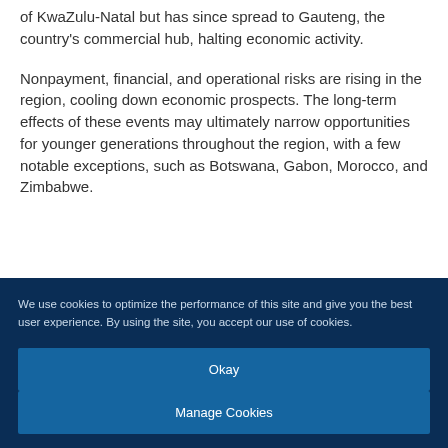of KwaZulu-Natal but has since spread to Gauteng, the country's commercial hub, halting economic activity.
Nonpayment, financial, and operational risks are rising in the region, cooling down economic prospects. The long-term effects of these events may ultimately narrow opportunities for younger generations throughout the region, with a few notable exceptions, such as Botswana, Gabon, Morocco, and Zimbabwe.
We use cookies to optimize the performance of this site and give you the best user experience. By using the site, you accept our use of cookies.
Okay
Manage Cookies